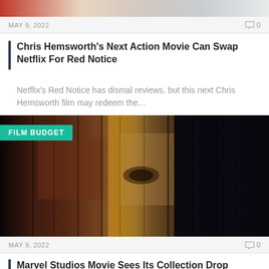[Figure (photo): Partial top of image showing person in white shirt with red/warm tones]
MAY 9, 2022    💬0
Chris Hemsworth's Next Action Movie Can Swap Netflix For Red Notice
Netflix's Red Notice has dismal reviews, but this next Chris Hemsworth film may redeem the...
[Figure (photo): Film poster showing multiple faces split into vertical strips with FILM BUDGET badge, dark atmospheric Marvel-style imagery]
MAY 9, 2022    💬0
Marvel Studios Movie Sees Its Collection Drop Sunday